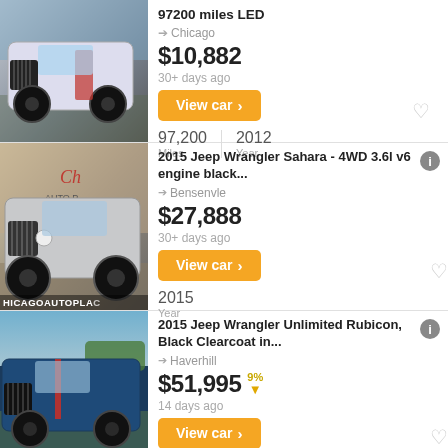[Figure (photo): White Jeep Wrangler with black wheels and red interior visible, lifted off-road vehicle]
97200 miles LED
Chicago
$10,882
30+ days ago
View car >
97,200 Miles | 2012 Year
[Figure (photo): Silver Jeep Wrangler with large off-road tires at Chicago Auto Place dealership]
2015 Jeep Wrangler Sahara - 4WD 3.6l v6 engine black...
Bensenvle
$27,888
30+ days ago
View car >
2015 Year
[Figure (photo): Dark blue Jeep Wrangler Unlimited Rubicon with red accents, parked outdoors]
2015 Jeep Wrangler Unlimited Rubicon, Black Clearcoat in...
Haverhill
$51,995 9%↓
14 days ago
View car >